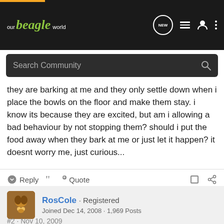our beagle world
they are barking at me and they only settle down when i place the bowls on the floor and make them stay. i know its because they are excited, but am i allowing a bad behaviour by not stopping them? should i put the food away when they bark at me or just let it happen? it doesnt worry me, just curious...
Reply  Quote
RosCole · Registered
Joined Dec 14, 2008 · 1,969 Posts
#2 · Nov 10, 2009
Our guys used to howl before feeding too, but, as you